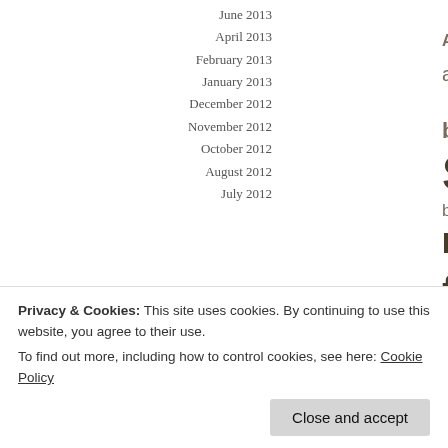June 2013
April 2013
February 2013
January 2013
December 2012
November 2012
October 2012
August 2012
July 2012
ADD Ang D anniversary birthday B Soriano bro eliseo so Razon Dear K faith freew inspirati Kuya D Razon life l Members Chu music nature p
[Figure (photo): Grid of 8 thumbnail photos including a woman smiling, Do Good text image, skydiving, yellow flower/balloon, blank image, snowflake pattern, street/person, man in dark lighting]
Privacy & Cookies: This site uses cookies. By continuing to use this website, you agree to their use.
To find out more, including how to control cookies, see here: Cookie Policy
Close and accept